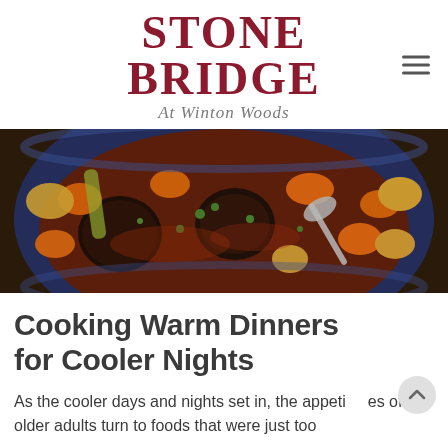STONE BRIDGE At Winton Woods
[Figure (photo): A close-up photo of a hearty stew or braised dish in a blue bowl, featuring pieces of beef or meat, carrots, potatoes, and garnished with green herbs, with a spoon visible.]
Cooking Warm Dinners for Cooler Nights
As the cooler days and nights set in, the appetites of older adults turn to foods that were just too